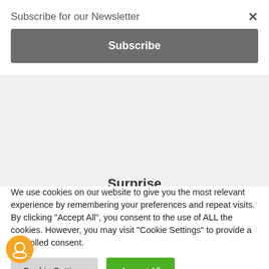Subscribe for our Newsletter
×
Subscribe
Surprise
Would you like some cookies?
We use cookies on our website to give you the most relevant experience by remembering your preferences and repeat visits. By clicking "Accept All", you consent to the use of ALL the cookies. However, you may visit "Cookie Settings" to provide a controlled consent.
Cookie Settings
Accept All